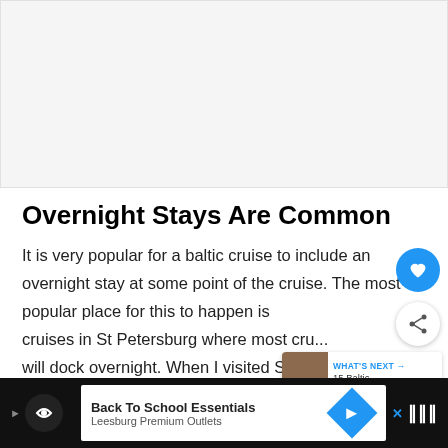[Figure (other): Large blank/placeholder image area at top of page]
Overnight Stays Are Common
It is very popular for a baltic cruise to include an overnight stay at some point of the cruise. The most popular place for this to happen is cruises in St Petersburg where most cru... will dock overnight. When I visited St Petersburg
[Figure (other): WHAT'S NEXT overlay with thumbnail image, label reading '15 Baltic Cruise Trave...']
[Figure (other): Bottom advertisement banner: Back To School Essentials, Leesburg Premium Outlets]